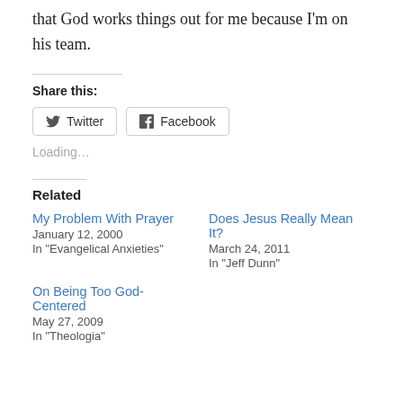that God works things out for me because I'm on his team.
Share this:
Twitter  Facebook
Loading…
Related
My Problem With Prayer
January 12, 2000
In "Evangelical Anxieties"
Does Jesus Really Mean It?
March 24, 2011
In "Jeff Dunn"
On Being Too God-Centered
May 27, 2009
In "Theologia"